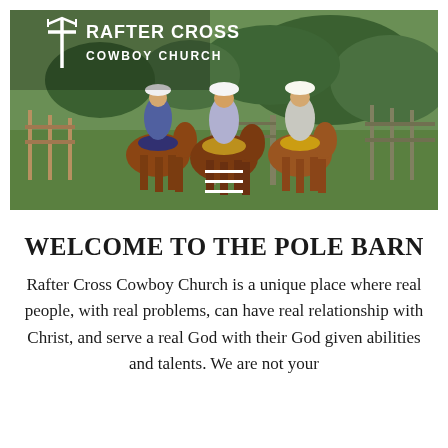[Figure (photo): Hero image showing three cowboys on horseback from behind, riding toward a ranch gate, with a green pastoral background. The Rafter Cross Cowboy Church logo with a cross icon is overlaid in the top-left corner. A hamburger menu icon appears at the bottom center of the image.]
WELCOME TO THE POLE BARN
Rafter Cross Cowboy Church is a unique place where real people, with real problems, can have real relationship with Christ, and serve a real God with their God given abilities and talents. We are not your